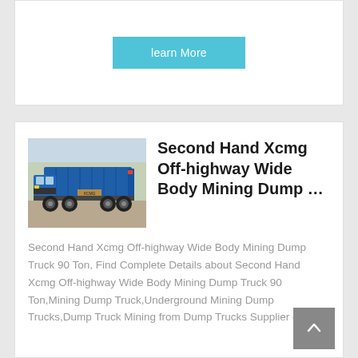learn More
[Figure (photo): Blue XCMG mining dump truck parked outdoors, rear-three-quarter view, with trees in background]
Second Hand Xcmg Off-highway Wide Body Mining Dump …
Second Hand Xcmg Off-highway Wide Body Mining Dump Truck 90 Ton, Find Complete Details about Second Hand Xcmg Off-highway Wide Body Mining Dump Truck 90 Ton,Mining Dump Truck,Underground Mining Dump Trucks,Dump Truck Mining from Dump Trucks Supplier or